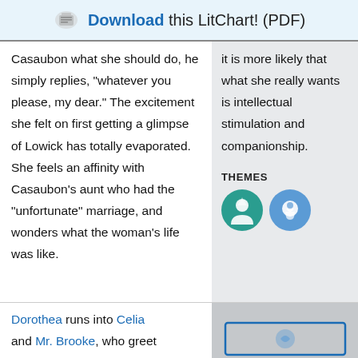Download this LitChart! (PDF)
Casaubon what she should do, he simply replies, “whatever you please, my dear.” The excitement she felt on first getting a glimpse of Lowick has totally evaporated. She feels an affinity with Casaubon’s aunt who had the “unfortunate” marriage, and wonders what the woman’s life was like.
it is more likely that what she really wants is intellectual stimulation and companionship.
THEMES
[Figure (illustration): Two circular theme icons: a teal circle with a person/figure icon, and a blue circle with a hand/gesture icon]
Dorothea runs into Celia and Mr. Brooke, who greet